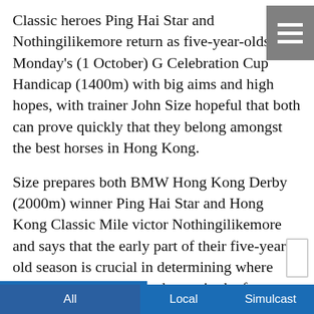Classic heroes Ping Hai Star and Nothingilikemore return as five-year-olds in Monday's (1 October) G Celebration Cup Handicap (1400m) with big aims and high hopes, with trainer John Size hopeful that both can prove quickly that they belong amongst the best horses in Hong Kong.
Size prepares both BMW Hong Kong Derby (2000m) winner Ping Hai Star and Hong Kong Classic Mile victor Nothingilikemore and says that the early part of their five-year-old season is crucial in determining where they will fit into the landscape in the future.
“The handicap that they have got, you find out pretty quickly as five-year-olds whether they are up to it against the better horses and whether they are better than their mark,” Size said at Sha Tin on Friday
All    Local    Simulcast